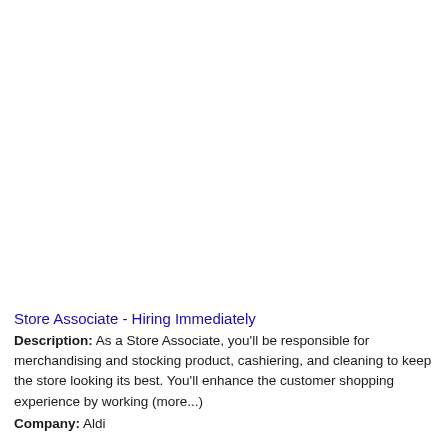Store Associate - Hiring Immediately
Description: As a Store Associate, you'll be responsible for merchandising and stocking product, cashiering, and cleaning to keep the store looking its best. You'll enhance the customer shopping experience by working (more...) Company: Aldi